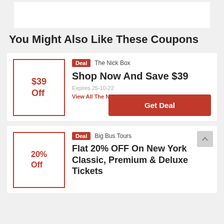[Figure (other): White box at top of page]
You Might Also Like These Coupons
Deal  The Nick Box
Shop Now And Save $39
Expires 25-10-22
View All The Nick Box Offers >
Get Deal
$39 Off
Deal  Big Bus Tours
Flat 20% OFF On New York Classic, Premium & Deluxe Tickets
20% Off